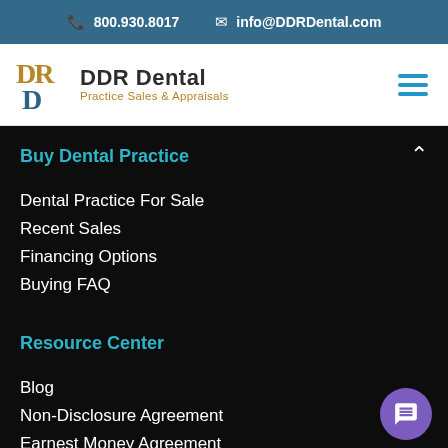800.930.8017  info@DDRDental.com
[Figure (logo): DDR Dental logo with text 'DDR Dental Practice Sales & Appraisals' and hamburger menu icon]
Buy Dental Practice
Dental Practice For Sale
Recent Sales
Financing Options
Buying FAQ
Resource Center
Blog
Non-Disclosure Agreement
Earnest Money Agreement